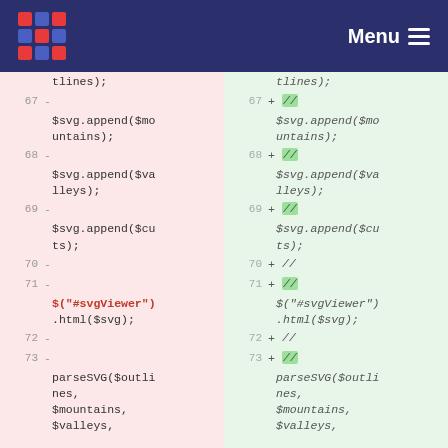Menu
Code diff view showing lines 67-73 of a JavaScript file with SVG manipulation code. Left side (red/removed) and right side (green/added/commented-out). Lines include $svg.append($mountains), $svg.append($valleys), $svg.append($cuts), $("#svgViewer").html($svg), parseSVG($outlines, $mountains, $valleys.